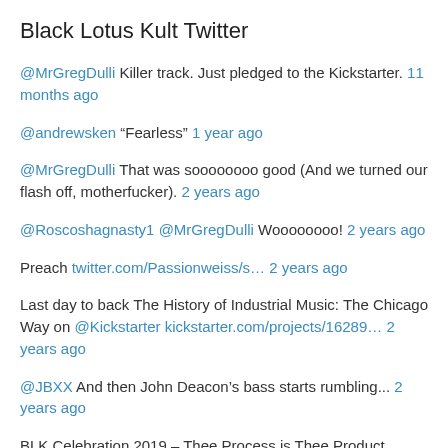Black Lotus Kult Twitter
@MrGregDulli Killer track. Just pledged to the Kickstarter. 11 months ago
@andrewsken “Fearless” 1 year ago
@MrGregDulli That was soooooooo good (And we turned our flash off, motherfucker). 2 years ago
@Roscoshagnasty1 @MrGregDulli Woooooooo! 2 years ago
Preach twitter.com/Passionweiss/s… 2 years ago
Last day to back The History of Industrial Music: The Chicago Way on @Kickstarter kickstarter.com/projects/16289… 2 years ago
@JBXX And then John Deacon’s bass starts rumbling... 2 years ago
BLK Celebration 2019 – Thee Process is Thee Product blacklotuskult.com/2019/10/28/blk… https://t.co/khq3mckRdV 2 years ago